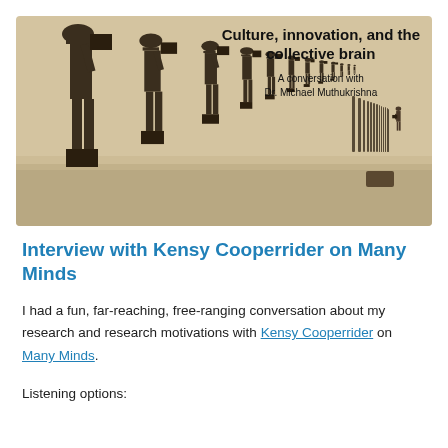[Figure (photo): Sepia-toned historical photograph showing a long line of men with cameras pointed in one direction, with one person facing them at the far end. Text overlay reads 'Culture, innovation, and the collective brain – A conversation with Dr. Michael Muthukrishna'.]
Interview with Kensy Cooperrider on Many Minds
I had a fun, far-reaching, free-ranging conversation about my research and research motivations with Kensy Cooperrider on Many Minds.
Listening options: